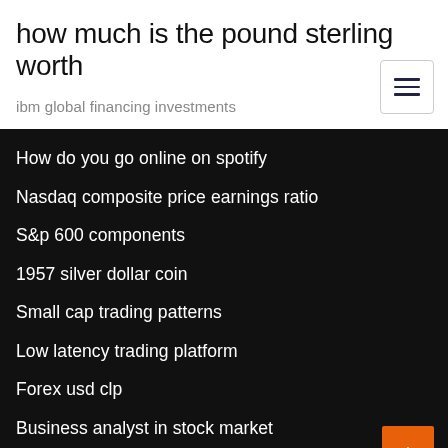how much is the pound sterling worth
ibm global financing investments
How do you go online on spotify
Nasdaq composite price earnings ratio
S&p 600 components
1957 silver dollar coin
Small cap trading patterns
Low latency trading platform
Forex usd clp
Business analyst in stock market
Hud fair market rate 2020